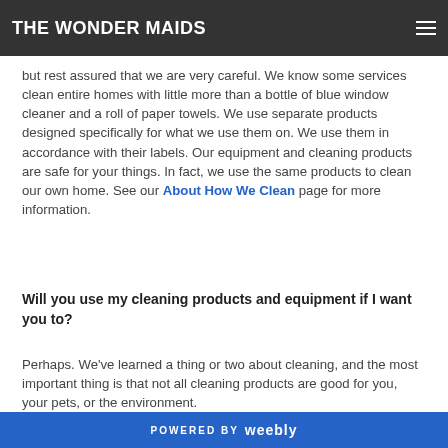THE WONDER MAIDS
you protect them from damage?
but rest assured that we are very careful.  We know some services clean entire homes with little more than a bottle of blue window cleaner and a roll of paper towels.  We use separate products designed specifically for what we use them on.  We use them in accordance with their labels.  Our equipment and cleaning products are safe for your things.  In fact, we use the same products to clean our own home.  See our About How We Clean page for more information.
Will you use my cleaning products and equipment if I want you to?
Perhaps.  We've learned a thing or two about cleaning, and the most important thing is that not all cleaning products are good for you, your pets, or the environment.  Please discuss your needs with us.  We'll accommodate
POWERED BY weebly